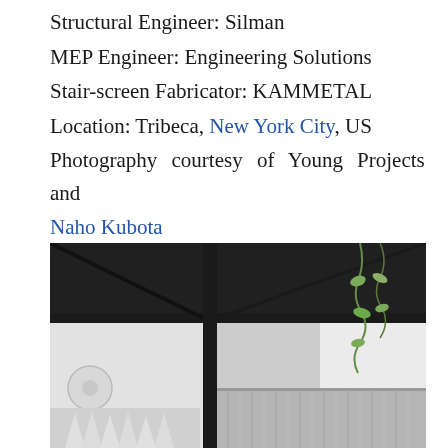Structural Engineer: Silman
MEP Engineer: Engineering Solutions
Stair-screen Fabricator: KAMMETAL
Location: Tribeca, New York City, US
Photography courtesy of Young Projects and Naho Kubota
[Figure (photo): Interior architectural photograph showing dark steel structural framing elements (vertical and horizontal bars) against white walls and ceiling, with hanging plant vines visible on the right side and chain/rod curtain elements in the lower right. A circular speaker is visible in the left wall area.]